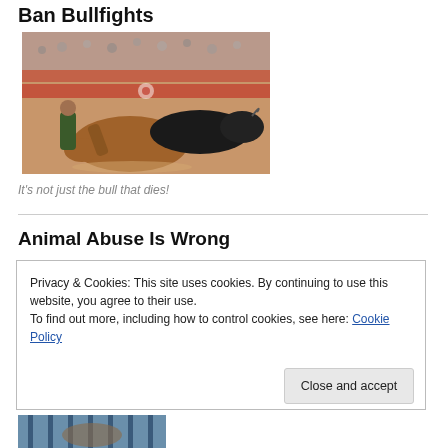Ban Bullfights
[Figure (photo): A bullfight scene showing a horse fallen on the ground with a black bull charging, a person nearby, in an arena with crowd in background.]
It's not just the bull that dies!
Animal Abuse Is Wrong
Privacy & Cookies: This site uses cookies. By continuing to use this website, you agree to their use.
To find out more, including how to control cookies, see here: Cookie Policy
Close and accept
[Figure (photo): Partial image of an animal behind bars/fence, cut off at bottom of page.]